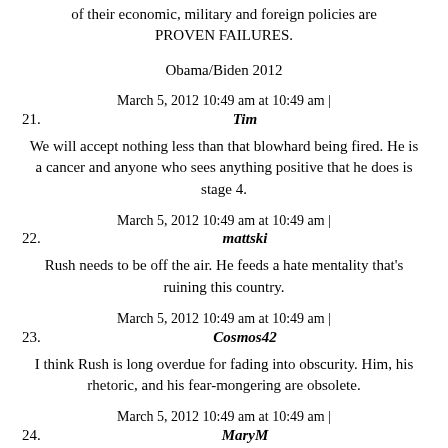of their economic, military and foreign policies are PROVEN FAILURES.
Obama/Biden 2012
21. March 5, 2012 10:49 am at 10:49 am | Tim
We will accept nothing less than that blowhard being fired. He is a cancer and anyone who sees anything positive that he does is stage 4.
22. March 5, 2012 10:49 am at 10:49 am | mattski
Rush needs to be off the air. He feeds a hate mentality that's ruining this country.
23. March 5, 2012 10:49 am at 10:49 am | Cosmos42
I think Rush is long overdue for fading into obscurity. Him, his rhetoric, and his fear-mongering are obsolete.
24. March 5, 2012 10:49 am at 10:49 am | MaryM